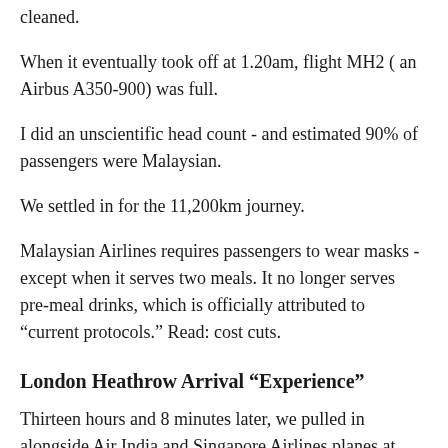cleaned.
When it eventually took off at 1.20am, flight MH2 ( an Airbus A350-900) was full.
I did an unscientific head count - and estimated 90% of passengers were Malaysian.
We settled in for the 11,200km journey.
Malaysian Airlines requires passengers to wear masks - except when it serves two meals. It no longer serves pre-meal drinks, which is officially attributed to “current protocols.” Read: cost cuts.
London Heathrow Arrival “Experience”
Thirteen hours and 8 minutes later, we pulled in alongside Air India and Singapore Airlines planes at Heathrow Terminal 3.